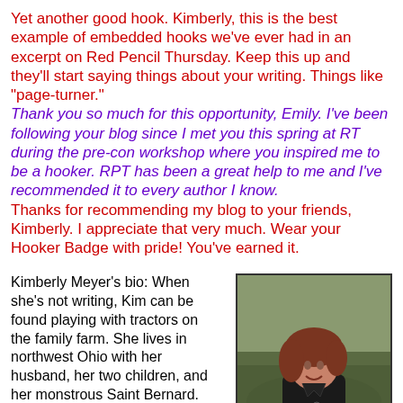Yet another good hook. Kimberly, this is the best example of embedded hooks we've ever had in an excerpt on Red Pencil Thursday. Keep this up and they'll start saying things about your writing. Things like "page-turner."
Thank you so much for this opportunity, Emily. I've been following your blog since I met you this spring at RT during the pre-con workshop where you inspired me to be a hooker. RPT has been a great help to me and I've recommended it to every author I know.
Thanks for recommending my blog to your friends, Kimberly. I appreciate that very much. Wear your Hooker Badge with pride! You've earned it.
Kimberly Meyer's bio: When she's not writing, Kim can be found playing with tractors on the family farm. She lives in northwest Ohio with her husband, her two children, and her monstrous Saint Bernard.
My website: kimberlymeyeronline.com
[Figure (photo): Photo of Kimberly Meyer, a woman with reddish-brown hair wearing a dark jacket, sitting outdoors on grass]